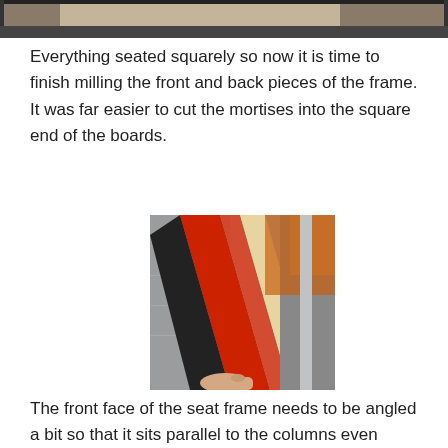[Figure (photo): Partial view of a woodworking frame piece seated squarely, top of page crop]
Everything seated squarely so now it is time to finish milling the front and back pieces of the frame. It was far easier to cut the mortises into the square end of the boards.
[Figure (photo): A wooden board being guided along a red fence on a table saw, with a hand visible at the bottom of the frame]
The front face of the seat frame needs to be angled a bit so that it sits parallel to the columns even though the seat